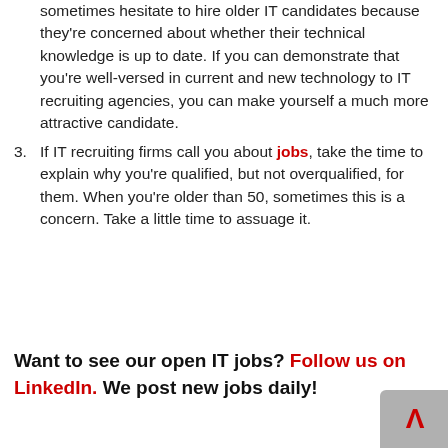sometimes hesitate to hire older IT candidates because they're concerned about whether their technical knowledge is up to date.  If you can demonstrate that you're well-versed in current and new technology to IT recruiting agencies, you can make yourself a much more attractive candidate.
If IT recruiting firms call you about jobs, take the time to explain why you're qualified, but not overqualified, for them.  When you're older than 50, sometimes this is a concern.  Take a little time to assuage it.
Want to see our open IT jobs?  Follow us on LinkedIn.  We post new jobs daily!